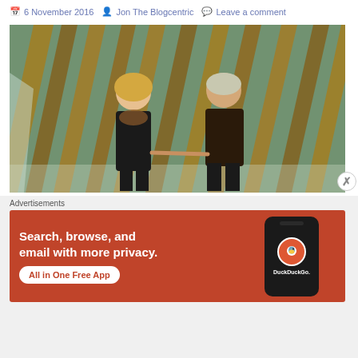6 November 2016  Jon The Blogcentric  Leave a comment
[Figure (photo): Two people (a woman and a man) standing and holding hands in front of diagonal wooden beams or panels leaning against a wall]
Advertisements
[Figure (screenshot): DuckDuckGo advertisement banner with orange/red background. Text reads: Search, browse, and email with more privacy. All in One Free App. Shows a smartphone with DuckDuckGo logo.]